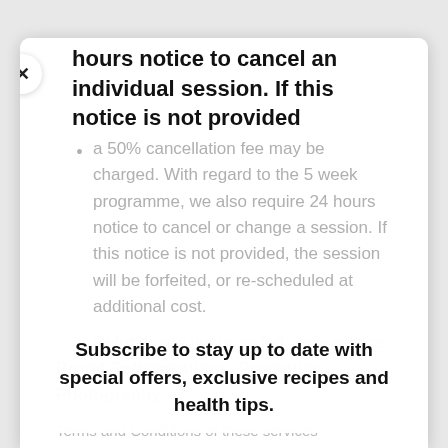hours notice to cancel an individual session. If this notice is not provided
a 50% cancellation fee may be charged. With regard to the 5 week programme, we also require 24 hours notice to cancel or change a session. If this notice is not provided, the session will be forfeited, or re-scheduled at additional cost.
Refunds are not provided once service is provided.
Subscribe to stay up to date with special offers, exclusive recipes and health tips.
Brand Collaborations, Promotion, Photography
Terms and Conditions of these services